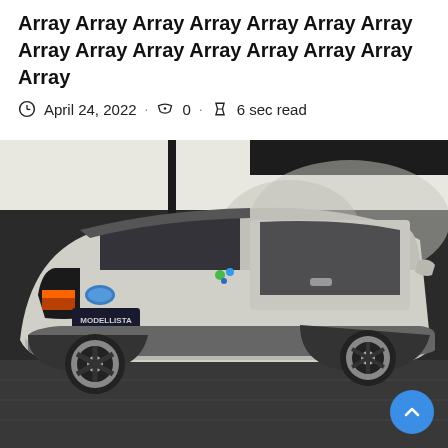Array Array Array Array Array Array Array Array Array Array Array Array Array Array Array
April 24, 2022 · 0 · 6 sec read
[Figure (photo): Rear three-quarter view of a silver Toyota RAV4 with Modellista body kit in a showroom setting]